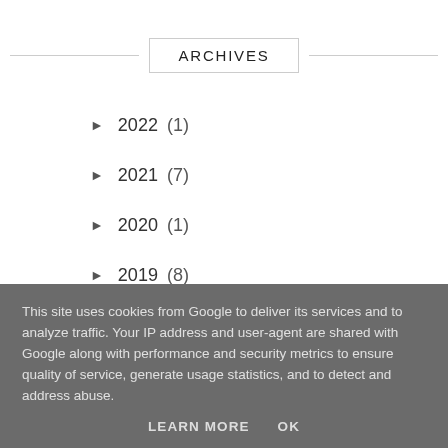ARCHIVES
► 2022 (1)
► 2021 (7)
► 2020 (1)
► 2019 (8)
► 2018 (4)
► 2014 (15)
► 2013 (80)
This site uses cookies from Google to deliver its services and to analyze traffic. Your IP address and user-agent are shared with Google along with performance and security metrics to ensure quality of service, generate usage statistics, and to detect and address abuse.
LEARN MORE    OK